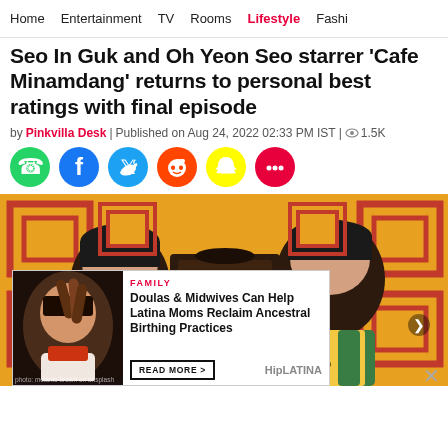Home | Entertainment | TV | Rooms | Lifestyle | Fashi
Seo In Guk and Oh Yeon Seo starrer 'Cafe Minamdang' returns to personal best ratings with final episode
by Pinkvilla Desk | Published on Aug 24, 2022 02:33 PM IST | 1.5K
[Figure (infographic): Social sharing icons row: WhatsApp (green), Facebook (blue), Twitter (cyan), Reddit (orange), Snapchat (yellow), Chat/bubble (pink)]
[Figure (photo): Hero image from Cafe Minamdang K-drama: two actors in front of yellow and red decorative background. Female actor with bangs on left, male actor in green jacket and yellow shirt on right.]
[Figure (infographic): Advertisement overlay: FAMILY category - 'Doulas & Midwives Can Help Latina Moms Reclaim Ancestral Birthing Practices' - READ MORE > - HipLATINA brand, with photo of woman with braided hair on left side.]